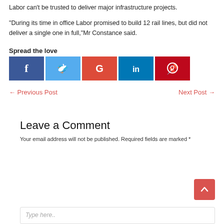Labor can't be trusted to deliver major infrastructure projects.
“During its time in office Labor promised to build 12 rail lines, but did not deliver a single one in full,”Mr Constance said.
Spread the love
[Figure (infographic): Social sharing buttons: Facebook (dark blue), Twitter (light blue), Google (red), LinkedIn (teal/blue), Pinterest (red)]
← Previous Post
Next Post →
Leave a Comment
Your email address will not be published. Required fields are marked *
Type here..